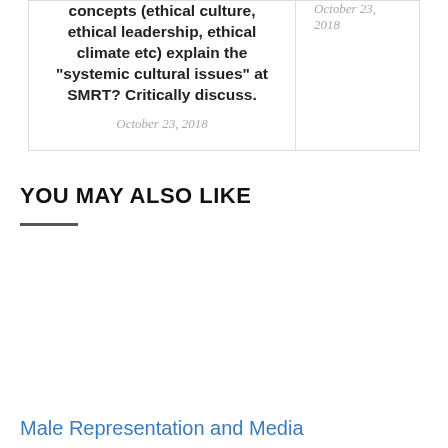concepts (ethical culture, ethical leadership, ethical climate etc) explain the "systemic cultural issues" at SMRT? Critically discuss.
October 23, 2018
October 23, 2018
YOU MAY ALSO LIKE
Male Representation and Media